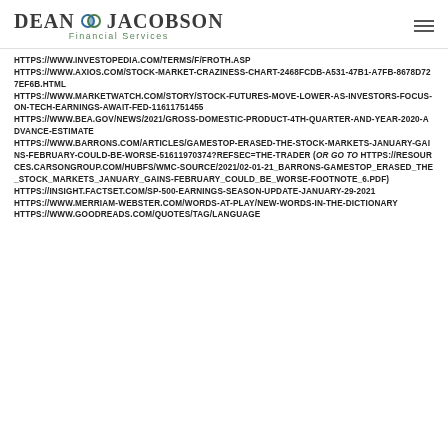Dean Jacobson Financial Services
HTTPS://WWW.INVESTOPEDIA.COM/TERMS/F/FROTH.ASP
HTTPS://WWW.AXIOS.COM/STOCK-MARKET-CRAZINESS-CHART-2468FCDB-A531-47B1-A7FB-8678D727EF6B.HTML
HTTPS://WWW.MARKETWATCH.COM/STORY/STOCK-FUTURES-MOVE-LOWER-AS-INVESTORS-FOCUS-ON-TECH-EARNINGS-AWAIT-FED-11611751455
HTTPS://WWW.BEA.GOV/NEWS/2021/GROSS-DOMESTIC-PRODUCT-4TH-QUARTER-AND-YEAR-2020-ADVANCE-ESTIMATE
HTTPS://WWW.BARRONS.COM/ARTICLES/GAMESTOP-ERASED-THE-STOCK-MARKETS-JANUARY-GAINS-FEBRUARY-COULD-BE-WORSE-51611970374?REFSEC=THE-TRADER (OR GO TO HTTPS://RESOURCES.CARSONGROUP.COM/HUBFS/WMC-SOURCE/2021/02-01-21_BARRONS-GAMESTOP_ERASED_THE_STOCK_MARKETS_JANUARY_GAINS-FEBRUARY_COULD_BE_WORSE-FOOTNOTE_6.PDF)
HTTPS://INSIGHT.FACTSET.COM/SP-500-EARNINGS-SEASON-UPDATE-JANUARY-29-2021
HTTPS://WWW.MERRIAM-WEBSTER.COM/WORDS-AT-PLAY/NEW-WORDS-IN-THE-DICTIONARY
HTTPS://WWW.GOODREADS.COM/QUOTES/TAG/LANGUAGE